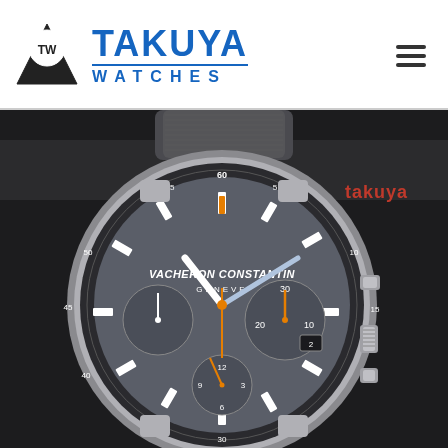[Figure (logo): Takuya Watches logo with triangular TW emblem, blue text TAKUYA WATCHES, and hamburger menu icon]
[Figure (photo): Close-up photograph of a Vacheron Constantin Geneve chronograph watch with grey/slate dial, black bezel with minute markings, orange and white hands/indices, sub-dials, date window, rubber strap, and 'takuya' red watermark in top right]